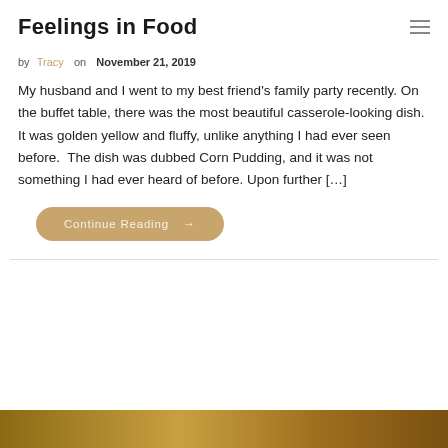Feelings in Food
by Tracy on November 21, 2019
My husband and I went to my best friend's family party recently. On the buffet table, there was the most beautiful casserole-looking dish. It was golden yellow and fluffy, unlike anything I had ever seen before.  The dish was dubbed Corn Pudding, and it was not something I had ever heard of before. Upon further [...]
Continue Reading →
[Figure (photo): Partial bottom image showing golden/brown food, cropped at bottom of page]